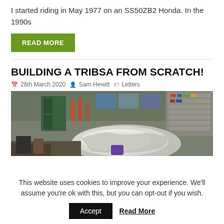I started riding in May 1977 on an SS50ZB2 Honda. In the 1990s
READ MORE
BUILDING A TRIBSA FROM SCRATCH!
26th March 2020  Sam Hewitt  Letters
[Figure (photo): Workshop scene showing a motorcycle fuel tank and various tools, parts, and shelving in a cluttered garage workshop]
This website uses cookies to improve your experience. We'll assume you're ok with this, but you can opt-out if you wish.
Accept  Read More